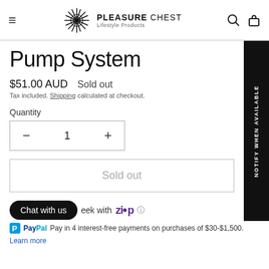PLEASURE CHEST Lifestyle Products
Pump System
$51.00 AUD   Sold out
Tax included. Shipping calculated at checkout.
Quantity
1
Sold out
NOTIFY WHEN AVAILABLE
or week with ZIP ⓘ
Chat with us
PayPal Pay in 4 interest-free payments on purchases of $30-$1,500.
Learn more